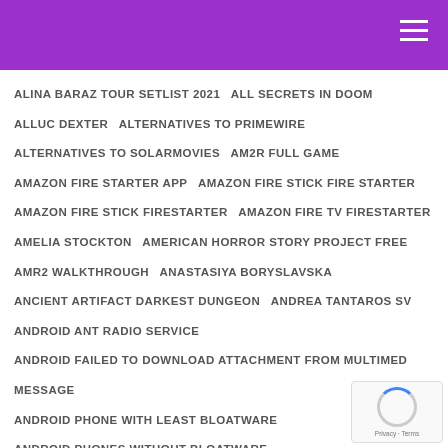ALINA BARAZ TOUR SETLIST 2021
ALL SECRETS IN DOOM
ALLUC DEXTER
ALTERNATIVES TO PRIMEWIRE
ALTERNATIVES TO SOLARMOVIES
AM2R FULL GAME
AMAZON FIRE STARTER APP
AMAZON FIRE STICK FIRE STARTER
AMAZON FIRE STICK FIRESTARTER
AMAZON FIRE TV FIRESTARTER
AMELIA STOCKTON
AMERICAN HORROR STORY PROJECT FREE
AMR2 WALKTHROUGH
ANASTASIYA BORYSLAVSKA
ANCIENT ARTIFACT DARKEST DUNGEON
ANDREA TANTAROS SW
ANDROID ANT RADIO SERVICE
ANDROID FAILED TO DOWNLOAD ATTACHMENT FROM MULTIMED MESSAGE
ANDROID PHONE WITH LEAST BLOATWARE
ANDROID PHONES WITHOUT BLOATWARE
ANDY GRAMMER ART OF JOY TOUR SETLIST
ANGELA HESSION
ANN MARIE STAUDENMAIER
ANNA VICTORIA NET W
ANNOTATED CONNECT EXCEPTION MINECRAFT
ANT PLUS PLUGIN SERVICE
ANT RADIO SERVICE AND